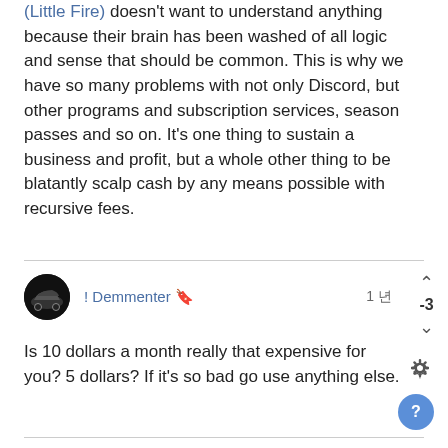(Little Fire) doesn't want to understand anything because their brain has been washed of all logic and sense that should be common. This is why we have so many problems with not only Discord, but other programs and subscription services, season passes and so on. It's one thing to sustain a business and profit, but a whole other thing to be blatantly scalp cash by any means possible with recursive fees.
! Demmenter 🔖 — 1 년 — -3
Is 10 dollars a month really that expensive for you? 5 dollars? If it's so bad go use anything else.